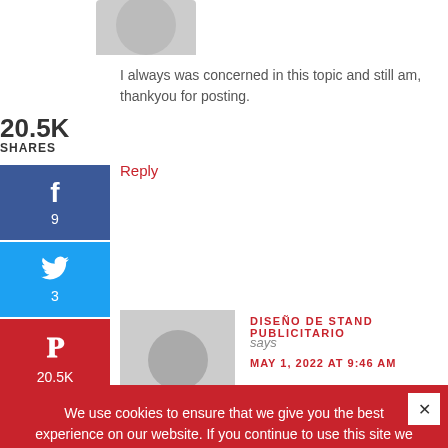[Figure (illustration): Gray avatar silhouette at top of page]
I always was concerned in this topic and still am, thankyou for posting.
20.5K
SHARES
[Figure (infographic): Facebook share button with count 9]
[Figure (infographic): Twitter share button with count 3]
[Figure (infographic): Pinterest share button with count 20.5K]
Reply
[Figure (illustration): Gray avatar silhouette for second commenter]
DISEÑO DE STAND PUBLICITARIO
says
MAY 1, 2022 AT 9:46 AM
We use cookies to ensure that we give you the best experience on our website. If you continue to use this site we will assume that you are happy with it.